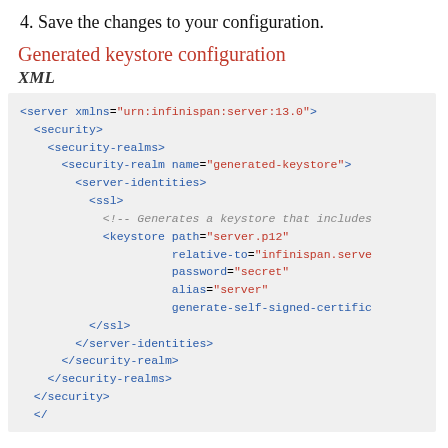4. Save the changes to your configuration.
Generated keystore configuration
XML
[Figure (screenshot): XML code block showing generated keystore configuration for Infinispan server, including security-realm with name 'generated-keystore', server-identities, ssl, and keystore elements with attributes path, relative-to, password, alias, and generate-self-signed-certificate.]